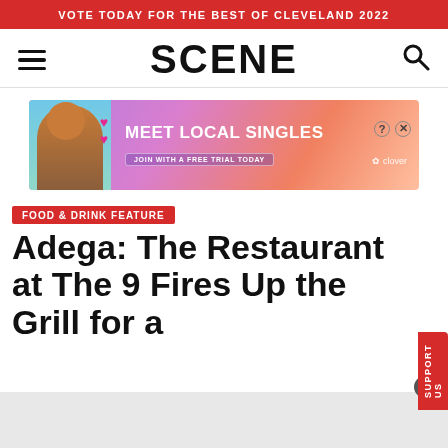VOTE TODAY FOR THE BEST OF CLEVELAND 2022
SCENE
[Figure (photo): Advertisement banner: Meet Local Singles — Join with a free trial today. Clover dating app ad with woman photo and hearts.]
FOOD & DRINK FEATURE
Adega: The Restaurant at The 9 Fires Up the Grill for a